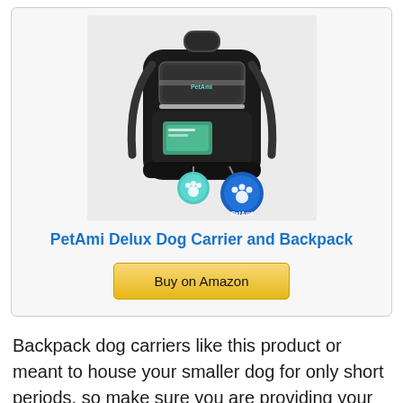[Figure (photo): Product photo of PetAmi Delux Dog Carrier and Backpack — a black backpack-style pet carrier with mesh window, green ID tag, and blue PetAmi logo tag]
PetAmi Delux Dog Carrier and Backpack
Buy on Amazon
Backpack dog carriers like this product or meant to house your smaller dog for only short periods, so make sure you are providing your dog with plenty of time to get out and stretch his legs and take potty